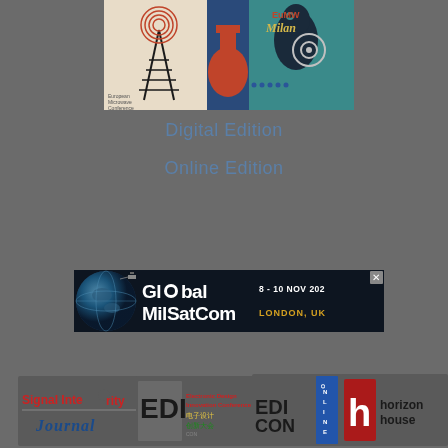[Figure (illustration): EuMW Milan conference banner with colorful geometric illustration showing antenna, scientific equipment, and stylized figures with 'EuMW Milan' text]
Digital Edition
Online Edition
[Figure (illustration): Global MilSatCom advertisement banner: dark navy background with globe graphic on left, text 'Global MilSatCom' in white/yellow, date '8 - 10 NOV 2022' and location 'LONDON, UK' in yellow]
[Figure (logo): Signal Integrity Journal logo]
[Figure (logo): EDIcon Electronic Design Innovation Conference logo with Chinese characters]
[Figure (logo): EDIcon Online logo with vertical ONLINE text]
[Figure (logo): Horizon House logo]